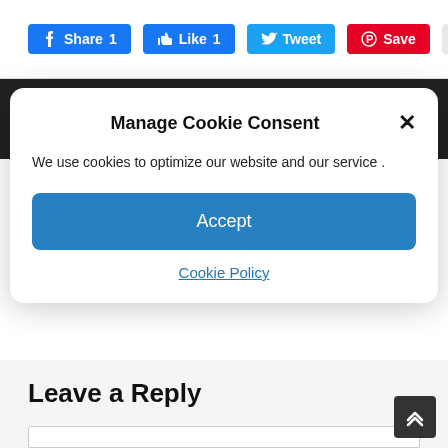[Figure (screenshot): Social sharing buttons: Facebook Share 1, Like 1, Tweet, Pinterest Save, and count badge showing 0]
About The Author
Manage Cookie Consent
We use cookies to optimize our website and our service .
Accept
Cookie Policy
Leave a Reply